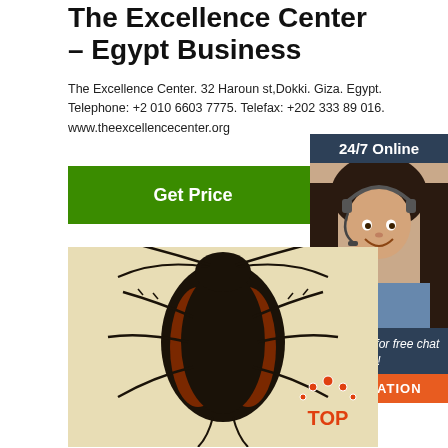The Excellence Center – Egypt Business
The Excellence Center. 32 Haroun st,Dokki. Giza. Egypt.
Telephone: +2 010 6603 7775. Telefax: +202 333 89 016.
www.theexcellencecenter.org
Get Price
[Figure (infographic): Dark blue sidebar widget with '24/7 Online' header, photo of a smiling woman with headset, 'Click here for free chat!' text, and orange QUOTATION button]
[Figure (photo): Close-up illustration/photo of a cockroach (dorsal view) with dark body and reddish-brown wing markings on a pale yellow background, with a red TOP badge in lower right corner]